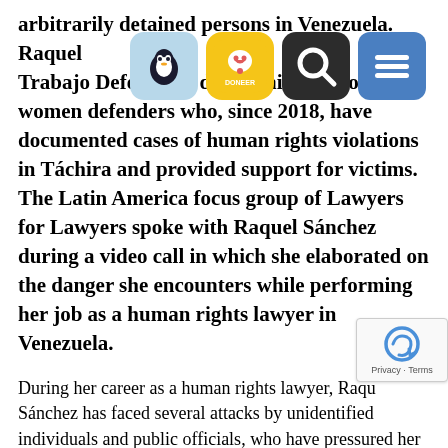arbitrarily detained persons in Venezuela. Raquel Sánchez and her Grupo de Trabajo Defensoras del Táchira, a group of women defenders who, since 2018, have documented cases of human rights violations in Táchira and provided support for victims. The Latin America focus group of Lawyers for Lawyers spoke with Raquel Sánchez during a video call in which she elaborated on the danger she encounters while performing her job as a human rights lawyer in Venezuela.
During her career as a human rights lawyer, Raquel Sánchez has faced several attacks by unidentified individuals and public officials, who have pressured her